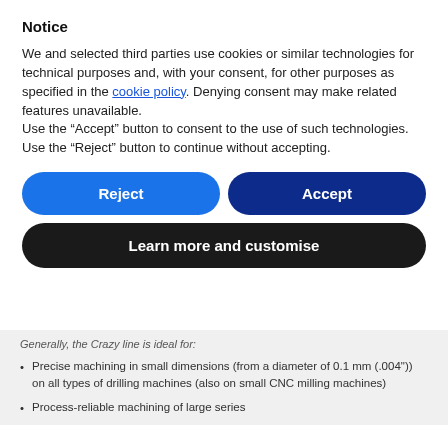Notice
We and selected third parties use cookies or similar technologies for technical purposes and, with your consent, for other purposes as specified in the cookie policy. Denying consent may make related features unavailable.
Use the “Accept” button to consent to the use of such technologies. Use the “Reject” button to continue without accepting.
[Figure (other): Two buttons side by side: 'Reject' (blue, rounded) and 'Accept' (dark blue, rounded)]
[Figure (other): Button: 'Learn more and customise' (black, rounded, full width)]
Generally, the Crazy line is ideal for:
Precise machining in small dimensions (from a diameter of 0.1 mm (.004")) on all types of drilling machines (also on small CNC milling machines)
Process-reliable machining of large series